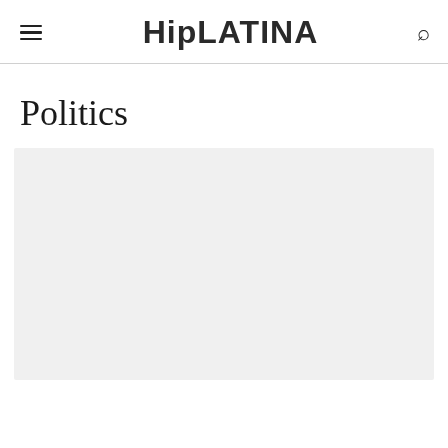HipLATINA
Politics
[Figure (photo): Light gray placeholder image area below the Politics section header]